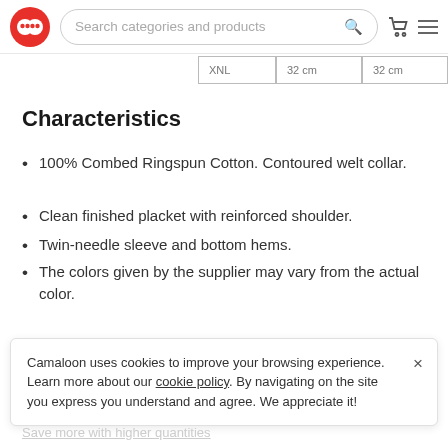Search categories and products
| XNL | 32 cm | 32 cm |
| --- | --- | --- |
Characteristics
100% Combed Ringspun Cotton. Contoured welt collar.
Clean finished placket with reinforced shoulder.
Twin-needle sleeve and bottom hems.
The colors given by the supplier may vary from the actual color.
Camaloon uses cookies to improve your browsing experience. Learn more about our cookie policy. By navigating on the site you express you understand and agree. We appreciate it!